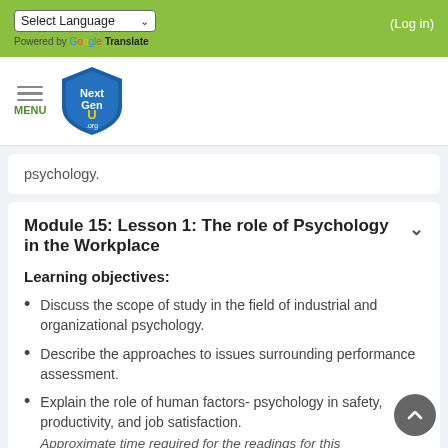Select Language | (Log in) | Powered by Google Translate
[Figure (logo): NextGenU.org shield logo with navigation menu icon]
psychology.
Module 15: Lesson 1: The role of Psychology in the Workplace
Learning objectives:
Discuss the scope of study in the field of industrial and organizational psychology.
Describe the approaches to issues surrounding performance assessment.
Explain the role of human factors- psychology in safety, productivity, and job satisfaction.
Approximate time required for the readings for this